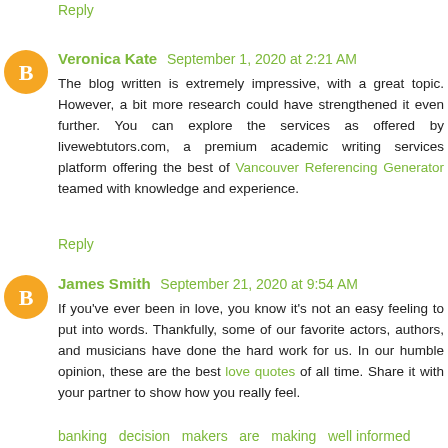Reply
Veronica Kate   September 1, 2020 at 2:21 AM
The blog written is extremely impressive, with a great topic. However, a bit more research could have strengthened it even further. You can explore the services as offered by livewebtutors.com, a premium academic writing services platform offering the best of Vancouver Referencing Generator teamed with knowledge and experience.
Reply
James Smith   September 21, 2020 at 9:54 AM
If you've ever been in love, you know it's not an easy feeling to put into words. Thankfully, some of our favorite actors, authors, and musicians have done the hard work for us. In our humble opinion, these are the best love quotes of all time. Share it with your partner to show how you really feel.
banking   decision   makers   are   making   well informed